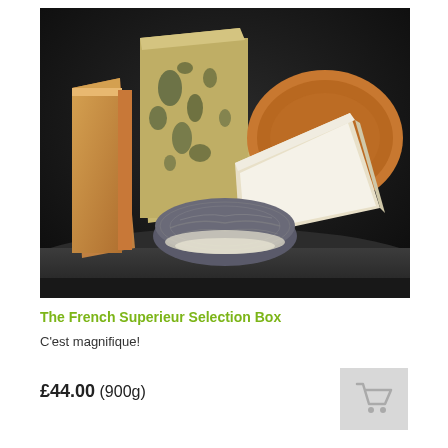[Figure (photo): Photograph of a selection of French cheeses arranged on a dark slate board against a dark background. Cheeses include a blue cheese (Roquefort-style), a soft round ash-covered cheese (Selles-sur-Cher or similar), a washed-rind cheese, and a Brie/Camembert-style wedge.]
The French Superieur Selection Box
C'est magnifique!
£44.00 (900g)